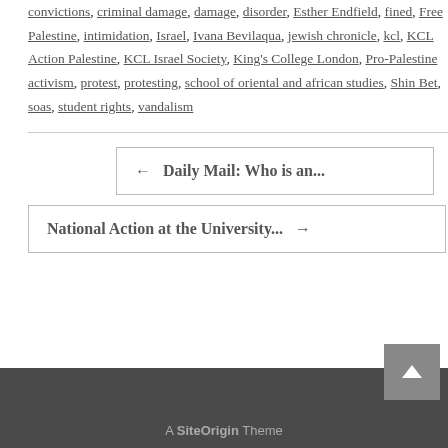convictions, criminal damage, damage, disorder, Esther Endfield, fined, Free Palestine, intimidation, Israel, Ivana Bevilaqua, jewish chronicle, kcl, KCL Action Palestine, KCL Israel Society, King's College London, Pro-Palestine activism, protest, protesting, school of oriental and african studies, Shin Bet, soas, student rights, vandalism
← Daily Mail: Who is an...
National Action at the University... →
A SiteOrigin Theme